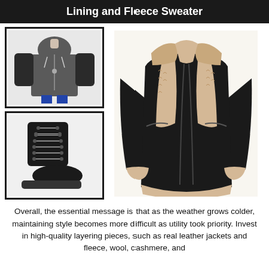Lining and Fleece Sweater
[Figure (photo): Photo of a dark grey zip-up hoodie/fleece sweater on a mannequin, inside a black-bordered box]
[Figure (photo): Photo of black lace-up combat boots, inside a black-bordered box]
[Figure (photo): Large photo of a black leather aviator/shearling jacket with cream fleece lining and collar]
Overall, the essential message is that as the weather grows colder, maintaining style becomes more difficult as utility took priority. Invest in high-quality layering pieces, such as real leather jackets and fleece, wool, cashmere, and